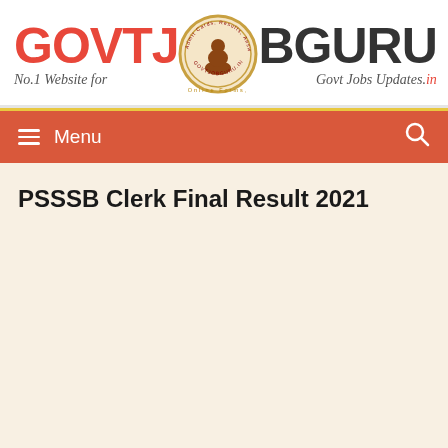[Figure (logo): GovtJobBGuru website header logo with GOVTJ in red on left, circular seal in center, BGURU in dark gray on right, tagline 'No.1 Website for Govt Jobs Updates.in']
Menu
PSSSB Clerk Final Result 2021